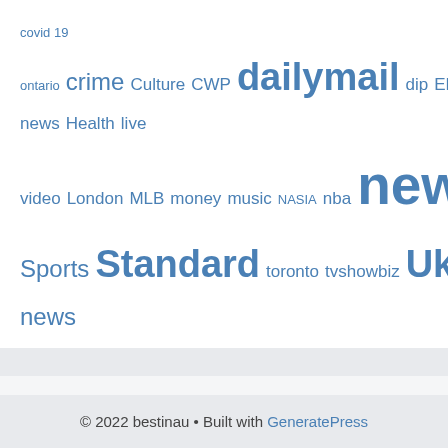covid 19 ontario crime Culture CWP dailymail dip EMRG Entertainment EUROP Europe GEN General news Health live video London MLB money music NASIA nba news NEWS1 NFL POL Politics Russia sport- Sports Standard toronto tvshowbiz Ukraine US Video WAR world news
Contact Us On
info@bestinau.net
© 2022 bestinau • Built with GeneratePress